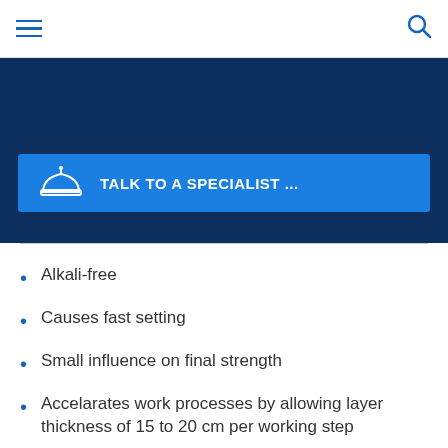Navigation menu and search icon
[Figure (infographic): Dark navy blue banner/hero section with a blue 'TALK TO A SPECIALIST ...' button featuring a hard hat icon]
Alkali-free
Causes fast setting
Small influence on final strength
Accelarates work processes by allowing layer thickness of 15 to 20 cm per working step
Reduces dust-formation